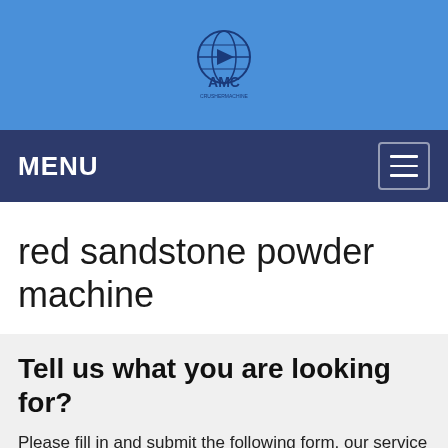[Figure (logo): AMC logo with globe and company name on blue header background]
MENU
red sandstone powder machine
Tell us what you are looking for?
Please fill in and submit the following form, our service team will contact you as soon as possible and provide a complete solution.